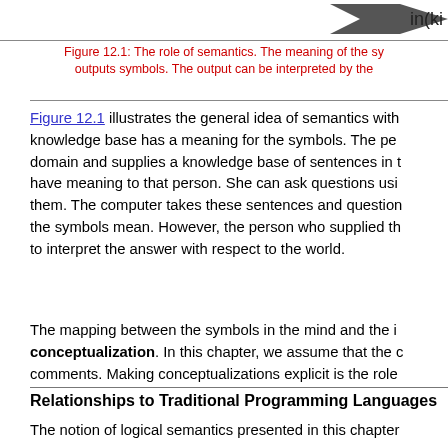[Figure (other): Arrow/logo graphic in top right corner with text 'in(ki...' partially visible]
Figure 12.1: The role of semantics. The meaning of the sy... outputs symbols. The output can be interpreted by the...
Figure 12.1 illustrates the general idea of semantics with knowledge base has a meaning for the symbols. The pe... domain and supplies a knowledge base of sentences in ... have meaning to that person. She can ask questions usi... them. The computer takes these sentences and questio... the symbols mean. However, the person who supplied th... to interpret the answer with respect to the world.
The mapping between the symbols in the mind and the i... conceptualization. In this chapter, we assume that the ... comments. Making conceptualizations explicit is the role...
Relationships to Traditional Programming Languages
The notion of logical semantics presented in this chapter... traditional programming languages like Fortran, C++, Lis... meaning of the language constructs in terms of what the... more closely to the proof theory presented here. Logical... symbols to the world, and a way to specify the result of a...
The definitions of semantics and reasoning theory corres...